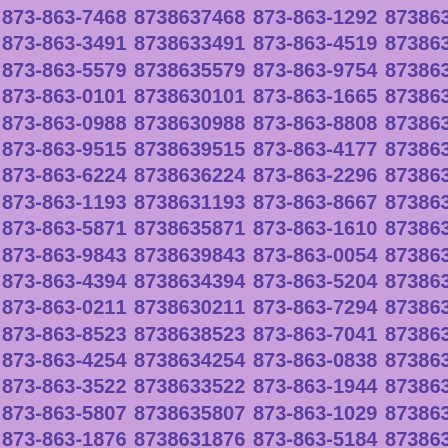873-863-7468 8738637468 873-863-1292 8738631292 873-863-3491 8738633491 873-863-4519 8738634519 873-863-5579 8738635579 873-863-9754 8738639754 873-863-0101 8738630101 873-863-1665 8738631665 873-863-0988 8738630988 873-863-8808 8738638808 873-863-9515 8738639515 873-863-4177 8738634177 873-863-6224 8738636224 873-863-2296 8738632296 873-863-1193 8738631193 873-863-8667 8738638667 873-863-5871 8738635871 873-863-1610 8738631610 873-863-9843 8738639843 873-863-0054 8738630054 873-863-4394 8738634394 873-863-5204 8738635204 873-863-0211 8738630211 873-863-7294 8738637294 873-863-8523 8738638523 873-863-7041 8738637041 873-863-4254 8738634254 873-863-0838 8738630838 873-863-3522 8738633522 873-863-1944 8738631944 873-863-5807 8738635807 873-863-1029 8738631029 873-863-1876 8738631876 873-863-5184 8738635184 873-863-8567 8738638567 873-863-5212 8738635212 873-863-7416 8738637416 873-863-8909 8738638909 873-863-3972 8738633972 873-863-4397 8738634397 873-863-1921 8738631921 873-863-4181 8738634181